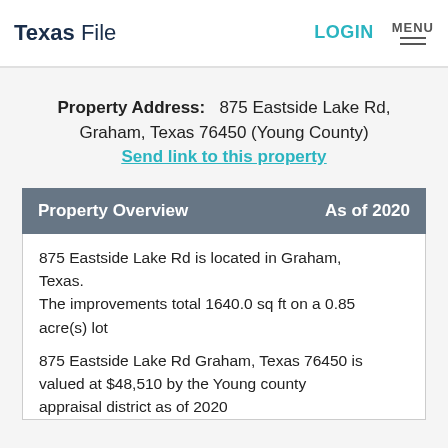Texas File | LOGIN | MENU
Property Address: 875 Eastside Lake Rd, Graham, Texas 76450 (Young County)
Send link to this property
Property Overview    As of 2020
875 Eastside Lake Rd is located in Graham, Texas.
The improvements total 1640.0 sq ft on a 0.85 acre(s) lot
875 Eastside Lake Rd Graham, Texas 76450 is valued at $48,510 by the Young county appraisal district as of 2020